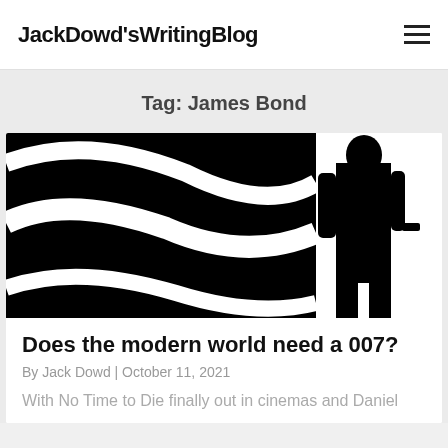JackDowd'sWritingBlog
Tag: James Bond
[Figure (illustration): James Bond-style silhouette: left side shows black and white gun barrel spiral design, right side shows a man in a suit standing, both in black silhouette on white background]
Does the modern world need a 007?
By Jack Dowd | October 11, 2021
With No Time to Die finally out in cinemas and Daniel